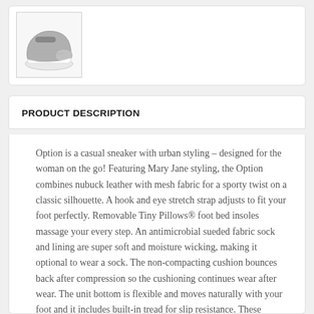[Figure (photo): Thumbnail image of a gray and white casual sneaker shoe]
PRODUCT DESCRIPTION
Option is a casual sneaker with urban styling – designed for the woman on the go! Featuring Mary Jane styling, the Option combines nubuck leather with mesh fabric for a sporty twist on a classic silhouette. A hook and eye stretch strap adjusts to fit your foot perfectly. Removable Tiny Pillows® foot bed insoles massage your every step. An antimicrobial sueded fabric sock and lining are super soft and moisture wicking, making it optional to wear a sock. The non-compacting cushion bounces back after compression so the cushioning continues wear after wear. The unit bottom is flexible and moves naturally with your foot and it includes built-in tread for slip resistance. These